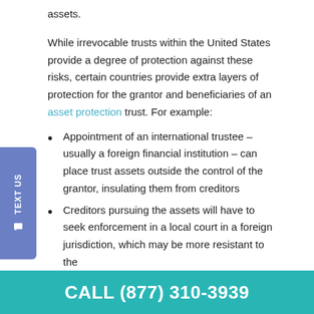assets.
While irrevocable trusts within the United States provide a degree of protection against these risks, certain countries provide extra layers of protection for the grantor and beneficiaries of an asset protection trust. For example:
Appointment of an international trustee – usually a foreign financial institution – can place trust assets outside the control of the grantor, insulating them from creditors
Creditors pursuing the assets will have to seek enforcement in a local court in a foreign jurisdiction, which may be more resistant to the
CALL (877) 310-3939